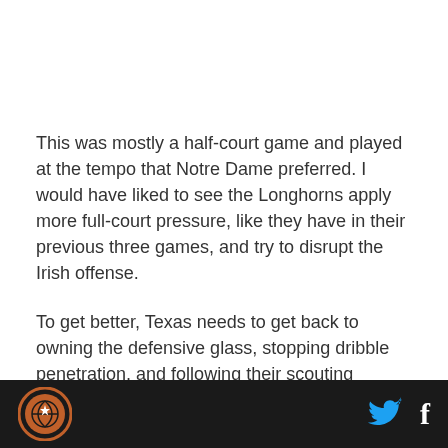This was mostly a half-court game and played at the tempo that Notre Dame preferred. I would have liked to see the Longhorns apply more full-court pressure, like they have in their previous three games, and try to disrupt the Irish offense.
To get better, Texas needs to get back to owning the defensive glass, stopping dribble penetration, and following their scouting reports. There was no reason for the Texas guards to be helping on post defense or
Footer with logo and social icons